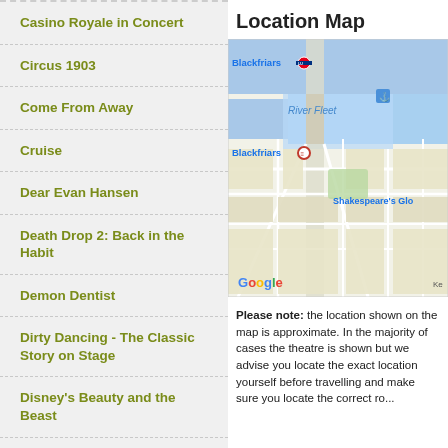Casino Royale in Concert
Circus 1903
Come From Away
Cruise
Dear Evan Hansen
Death Drop 2: Back in the Habit
Demon Dentist
Dirty Dancing - The Classic Story on Stage
Disney's Beauty and the Beast
Disney's The Lion King
DIVA: Live From Hell
Dolly Parton's Smoky Mountain Christmas Carol
Location Map
[Figure (map): Google map showing area around Blackfriars, River Fleet, and Shakespeare's Globe in London]
Please note: the location shown on the map is approximate. In the majority of cases the theatre is shown but we advise you locate the exact location yourself before travelling and make sure you locate the correct road entrance.